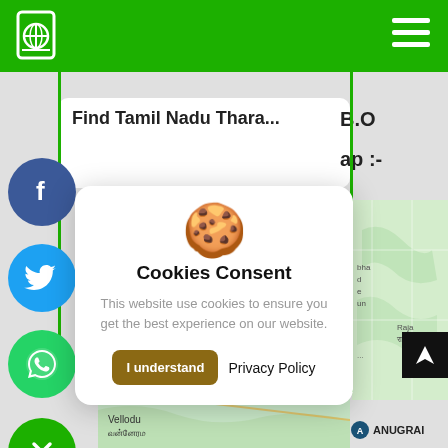Website header with logo and hamburger menu
[Figure (screenshot): Cookie consent modal dialog overlay on a website showing a map background with social share buttons (Facebook, Twitter, WhatsApp, close). The modal contains a cookie emoji icon, title 'Cookies Consent', body text, and two buttons: 'I understand' and 'Privacy Policy'.]
Cookies Consent
This website use cookies to ensure you get the best experience on our website.
I understand   Privacy Policy